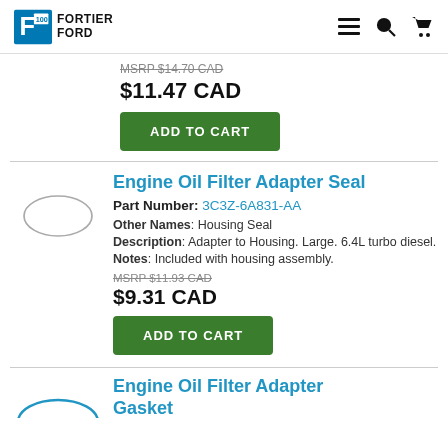Fortier Ford
MSRP $14.70 CAD
$11.47 CAD
ADD TO CART
Engine Oil Filter Adapter Seal
Part Number: 3C3Z-6A831-AA
Other Names: Housing Seal
Description: Adapter to Housing. Large. 6.4L turbo diesel.
Notes: Included with housing assembly.
MSRP $11.93 CAD
$9.31 CAD
ADD TO CART
Engine Oil Filter Adapter Gasket